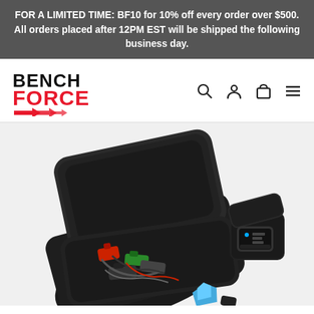FOR A LIMITED TIME: BF10 for 10% off every order over $500. All orders placed after 12PM EST will be shipped the following business day.
[Figure (logo): BenchForce logo with red FORCE text and red arrow graphic below]
[Figure (photo): Product photo showing an open black hard shell carrying case filled with various wiring harness connectors and adapters, with a smaller open case containing a small electronic device, and a blue plastic connector piece visible in front]